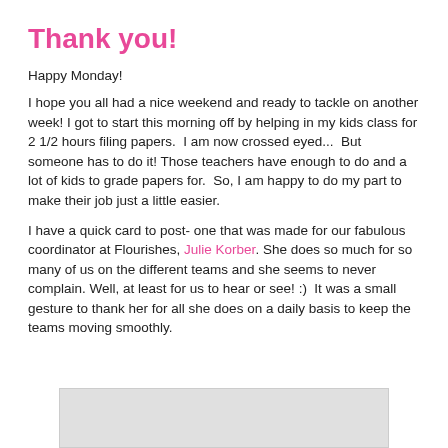Thank you!
Happy Monday!
I hope you all had a nice weekend and ready to tackle on another week! I got to start this morning off by helping in my kids class for 2 1/2 hours filing papers.  I am now crossed eyed...  But someone has to do it! Those teachers have enough to do and a lot of kids to grade papers for.  So, I am happy to do my part to make their job just a little easier.
I have a quick card to post- one that was made for our fabulous coordinator at Flourishes, Julie Korber. She does so much for so many of us on the different teams and she seems to never complain. Well, at least for us to hear or see! :)  It was a small gesture to thank her for all she does on a daily basis to keep the teams moving smoothly.
[Figure (photo): A partially visible card image at the bottom of the page, shown as a light gray blurred/redacted rectangle.]